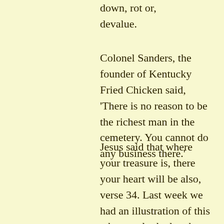down, rot or, devalue.
Colonel Sanders, the founder of Kentucky Fried Chicken said, 'There is no reason to be the richest man in the cemetery. You cannot do any business there.'
Jesus said that where your treasure is, there your heart will be also, verse 34. Last week we had an illustration of this when we looked at the man who cared so much about wealth that he had fallen out with his brother and failed to recognise Jesus as